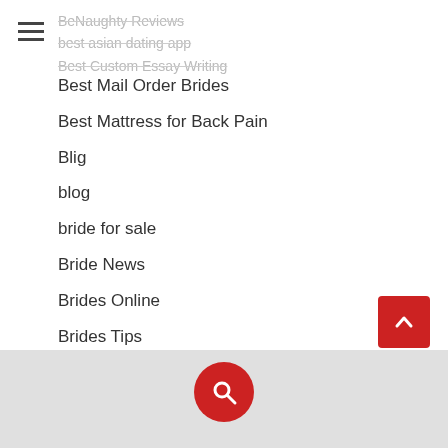BeNaughty Reviews / best asian dating app / Best Custom Essay Writing
Best Mail Order Brides
Best Mattress for Back Pain
Blig
blog
bride for sale
Bride News
Brides Online
Brides Tips
brizilin girls
build your own website
bulgarian mail order brides
Business
buy a wife
buying a wife online
Cam Online
Camsoda Review